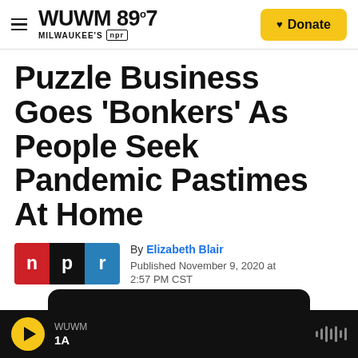WUWM 89.7 Milwaukee's NPR — Donate
Puzzle Business Goes 'Bonkers' As People Seek Pandemic Pastimes At Home
By Elizabeth Blair
Published November 9, 2020 at 2:57 PM CST
WUWM 1A